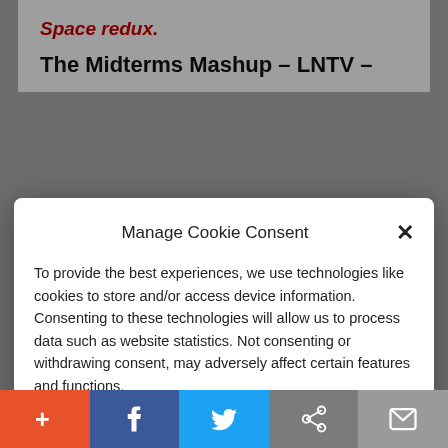Space redux.
The Midterms Mashup – LNTV –
Manage Cookie Consent
To provide the best experiences, we use technologies like cookies to store and/or access device information. Consenting to these technologies will allow us to process data such as website statistics. Not consenting or withdrawing consent, may adversely affect certain features and functions.
Accept
Cookie Policy  Privacy Policy
Conservative 5 –
+ f (twitter) (link) (mail)